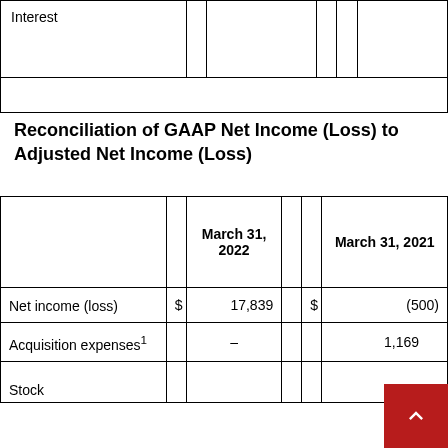|  |  |  |  |  |  |
| --- | --- | --- | --- | --- | --- |
| Interest |  |  |  |  |  |
|  |  |  |  |  |  |
Reconciliation of GAAP Net Income (Loss) to Adjusted Net Income (Loss)
|  |  | March 31, 2022 |  | $ | March 31, 2021 |
| --- | --- | --- | --- | --- | --- |
| Net income (loss) | $ | 17,839 |  | $ | (500) |
| Acquisition expenses¹ |  | – |  |  | 1,169 |
| Stock |  |  |  |  |  |